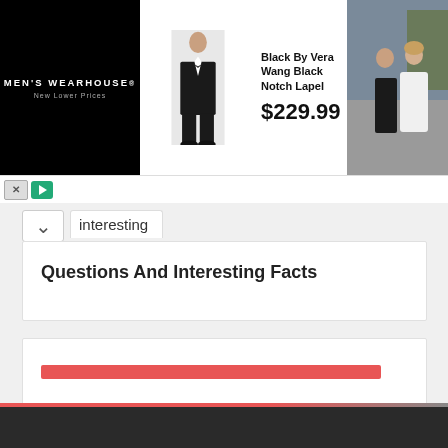[Figure (screenshot): Men's Wearhouse advertisement banner showing a man in a black tuxedo, product name 'Black By Vera Wang Black Notch Lapel', price $229.99, and a couple at a wedding on the right side.]
interesting
Questions And Interesting Facts
[Figure (other): A red horizontal bar/loading bar element]
Copyright © . All Rights Reserved Powered by WordPress | Daily Insight by Yam Chhetri